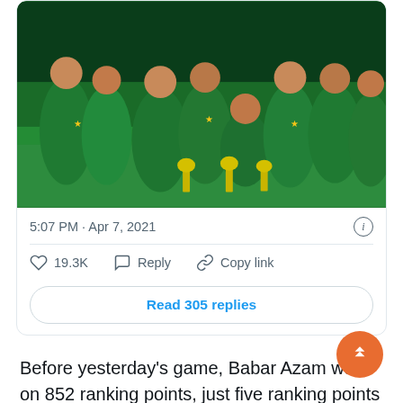[Figure (photo): Group photo of Pakistan cricket team in green uniforms posing with trophies on a cricket ground at night]
5:07 PM · Apr 7, 2021
19.3K   Reply   Copy link
Read 305 replies
Before yesterday's game, Babar Azam was on 852 ranking points, just five ranking points behind Virat Kohli.
At the start of the series against South Africa, [he] was more than 30 points behind Kohli in the ICC